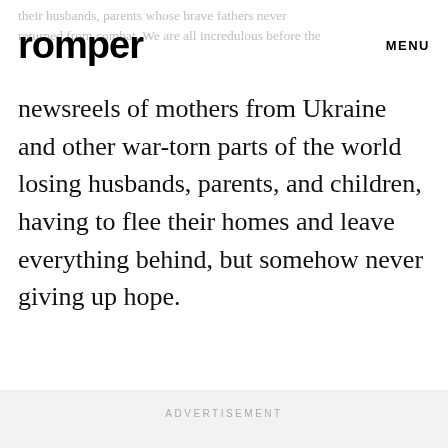their husbands, parents whose brave fathers never returned from combat. We are all incredulous before the
romper   MENU
newsreels of mothers from Ukraine and other war-torn parts of the world losing husbands, parents, and children, having to flee their homes and leave everything behind, but somehow never giving up hope.
ADVERTISEMENT